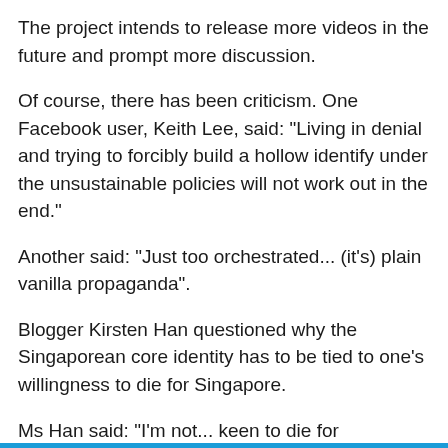The project intends to release more videos in the future and prompt more discussion.
Of course, there has been criticism. One Facebook user, Keith Lee, said: "Living in denial and trying to forcibly build a hollow identify under the unsustainable policies will not work out in the end."
Another said: "Just too orchestrated... (it's) plain vanilla propaganda".
Blogger Kirsten Han questioned why the Singaporean core identity has to be tied to one's willingness to die for Singapore.
Ms Han said: "I'm not... keen to die for Singapore. But that doesn't mean... I am not invested in this society and where we're all headed."